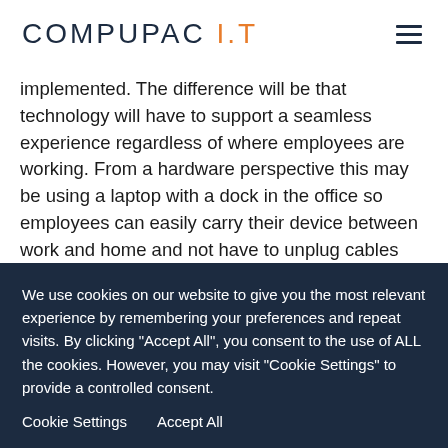COMPUPAC I.T
implemented. The difference will be that technology will have to support a seamless experience regardless of where employees are working. From a hardware perspective this may be using a laptop with a dock in the office so employees can easily carry their device between work and home and not have to unplug cables each time. From a software perspective it is important to utilise Microsoft
We use cookies on our website to give you the most relevant experience by remembering your preferences and repeat visits. By clicking "Accept All", you consent to the use of ALL the cookies. However, you may visit "Cookie Settings" to provide a controlled consent.
Cookie Settings    Accept All